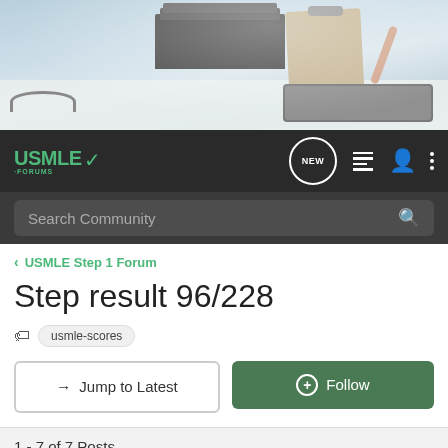[Figure (photo): Hero banner photo showing a medical/study desk scene with books, clipboard, tablet, and stethoscope on a light surface]
USMLE FORUMS navigation bar with logo, NEW button, list icon, user icon, and more options
Search Community
< USMLE Step 1 Forum
Step result 96/228
usmle-scores
→ Jump to Latest
+ Follow
1 - 7 of 7 Posts
aedin · Registered